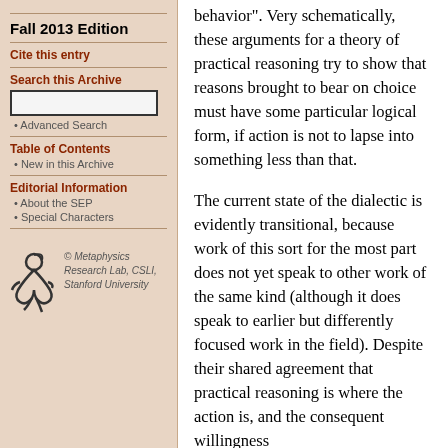Fall 2013 Edition
Cite this entry
Search this Archive
Advanced Search
Table of Contents
New in this Archive
Editorial Information
About the SEP
Special Characters
© Metaphysics Research Lab, CSLI, Stanford University
behavior". Very schematically, these arguments for a theory of practical reasoning try to show that reasons brought to bear on choice must have some particular logical form, if action is not to lapse into something less than that.
The current state of the dialectic is evidently transitional, because work of this sort for the most part does not yet speak to other work of the same kind (although it does speak to earlier but differently focused work in the field). Despite their shared agreement that practical reasoning is where the action is, and the consequent willingness